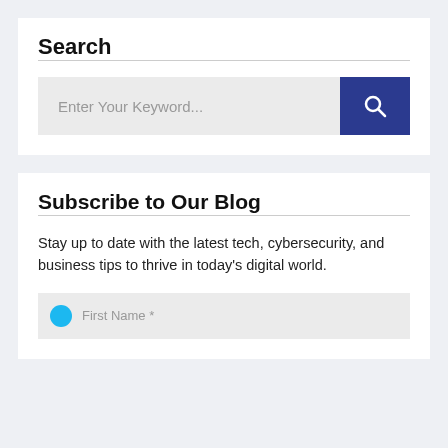Search
[Figure (other): Search input field with placeholder text 'Enter Your Keyword...' and a dark blue button with a magnifying glass icon]
Subscribe to Our Blog
Stay up to date with the latest tech, cybersecurity, and business tips to thrive in today’s digital world.